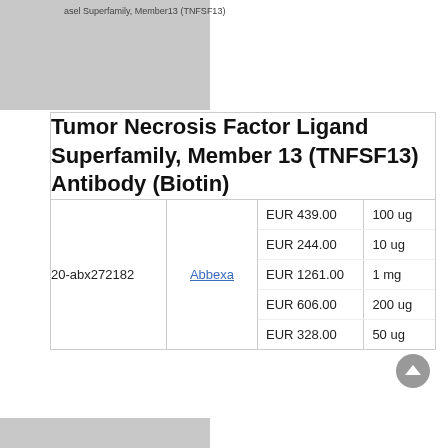asel Superfamily, Member13 (TNFSF13)
Tumor Necrosis Factor Ligand Superfamily, Member 13 (TNFSF13) Antibody (Biotin)
|  |  | Price | Quantity |
| --- | --- | --- | --- |
| 20-abx272182 | Abbexa | EUR 439.00 | 100 ug |
|  |  | EUR 244.00 | 10 ug |
|  |  | EUR 1261.00 | 1 mg |
|  |  | EUR 606.00 | 200 ug |
|  |  | EUR 328.00 | 50 ug |